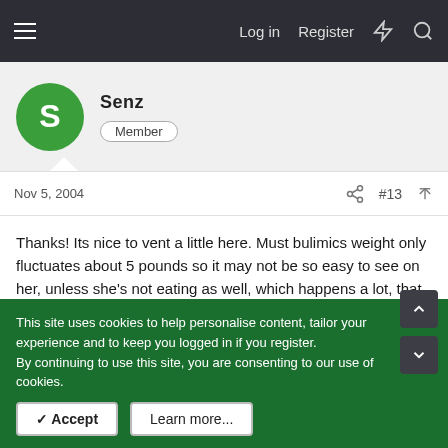Log in  Register
Senz
Member
Nov 5, 2004   #13
Thanks! Its nice to vent a little here. Must bulimics weight only fluctuates about 5 pounds so it may not be so easy to see on her, unless she's not eating as well, which happens a lot, that girls purge and restrict eating at the same time.
This is the first time I will see him since I told him and I'm a little nervous, I don't really know how to act. I've been telling him about all my appointments to keep him involved and updated.
My roommates don't know so he's the only one I talk to about
This site uses cookies to help personalise content, tailor your experience and to keep you logged in if you register.
By continuing to use this site, you are consenting to our use of cookies.
✓ Accept    Learn more...